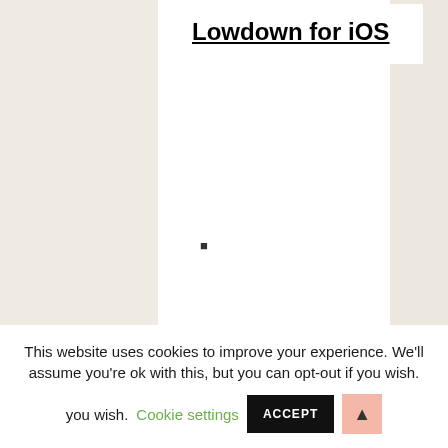Lowdown for iOS
▪
This website uses cookies to improve your experience. We'll assume you're ok with this, but you can opt-out if you wish.
Cookie settings
ACCEPT